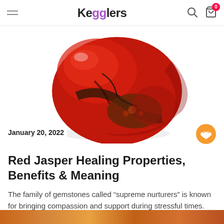Kegglers
[Figure (photo): A polished red jasper tumbled stone with dark veins and brownish patches on a white background]
January 20, 2022
Red Jasper Healing Properties, Benefits & Meaning
The family of gemstones called “supreme nurturers” is known for bringing compassion and support during stressful times. Red [...]
[Figure (photo): Bottom teaser strip showing another gemstone image]